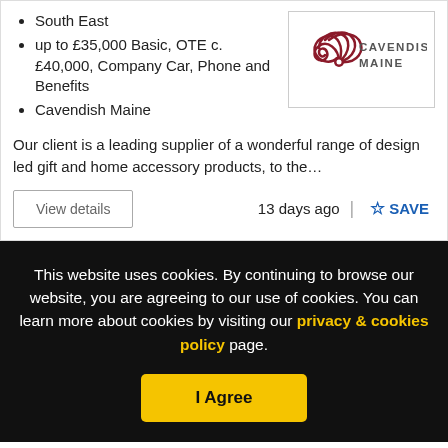South East
up to £35,000 Basic, OTE c. £40,000, Company Car, Phone and Benefits
Cavendish Maine
[Figure (logo): Cavendish Maine logo with spiral shell graphic in dark red and grey text]
Our client is a leading supplier of a wonderful range of design led gift and home accessory products, to the…
View details
13 days ago
SAVE
This website uses cookies. By continuing to browse our website, you are agreeing to our use of cookies. You can learn more about cookies by visiting our privacy & cookies policy page.
I Agree